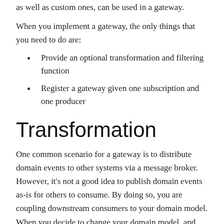as well as custom ones, can be used in a gateway.
When you implement a gateway, the only things that you need to do are:
Provide an optional transformation and filtering function
Register a gateway given one subscription and one producer
Transformation
One common scenario for a gateway is to distribute domain events to other systems via a message broker. However, it's not a good idea to publish domain events as-is for others to consume. By doing so, you are coupling downstream consumers to your domain model. When you decide to change your domain model, and, possibly, enrich your domain events, you force